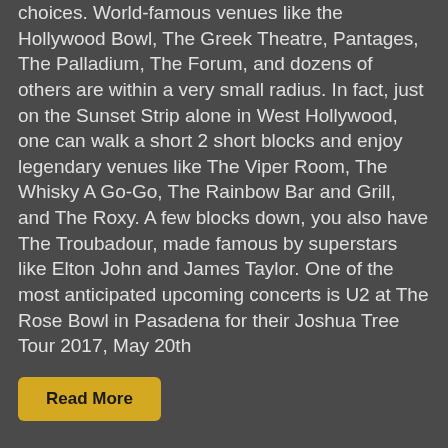choices.  World-famous venues like the Hollywood Bowl, The Greek Theatre, Pantages, The Palladium, The Forum, and dozens of others are within a very small radius.  In fact, just on the Sunset Strip alone in West Hollywood, one can walk a short 2 short blocks and enjoy legendary venues like The Viper Room, The Whisky A Go-Go, The Rainbow Bar and Grill, and The Roxy.  A few blocks down, you also have The Troubadour, made famous by superstars like Elton John and James Taylor. One of the most anticipated upcoming concerts is U2 at The Rose Bowl in Pasadena for their Joshua Tree Tour 2017, May 20th
Read More
Filed Under: Celebrities, L.A. Landmarks, Local Favorites, Uncategorized, What's Happening Tagged With: concerts, greek theatre, hollywood